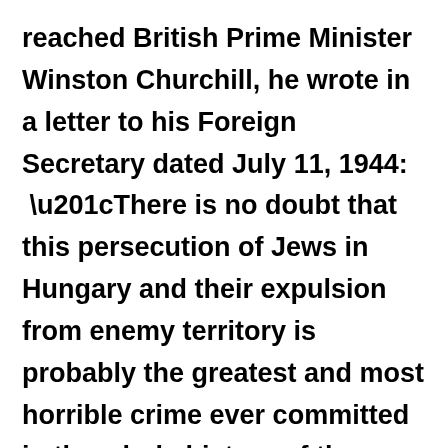reached British Prime Minister Winston Churchill, he wrote in a letter to his Foreign Secretary dated July 11, 1944: “There is no doubt that this persecution of Jews in Hungary and their expulsion from enemy territory is probably the greatest and most horrible crime ever committed in the whole history of the world….”